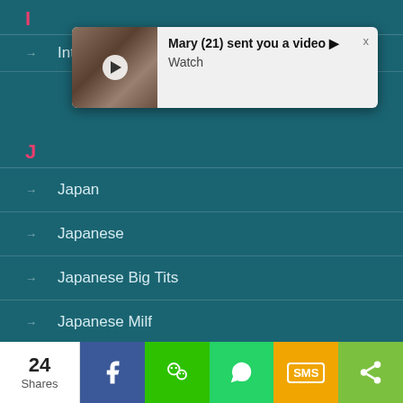I
Int...
[Figure (screenshot): Notification popup: Mary (21) sent you a video ▶ Watch, with thumbnail image and close button]
J
Japan
Japanese
Japanese Big Tits
Japanese Milf
Jav
K
24 Shares — Facebook, WeChat, WhatsApp, SMS, More share buttons